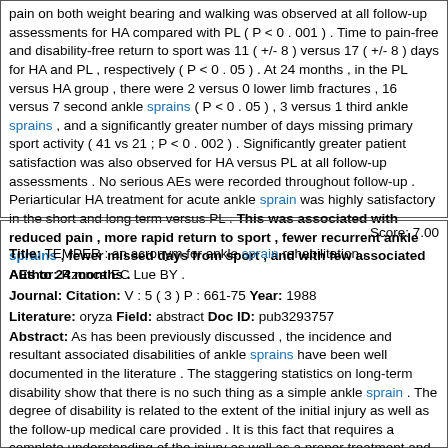pain on both weight bearing and walking was observed at all follow-up assessments for HA compared with PL ( P < 0 . 001 ) . Time to pain-free and disability-free return to sport was 11 ( +/- 8 ) versus 17 ( +/- 8 ) days for HA and PL , respectively ( P < 0 . 05 ) . At 24 months , in the PL versus HA group , there were 2 versus 0 lower limb fractures , 16 versus 7 second ankle sprains ( P < 0 . 05 ) , 3 versus 1 third ankle sprains , and a significantly greater number of days missing primary sport activity ( 41 vs 21 ; P < 0 . 002 ) . Significantly greater patient satisfaction was also observed for HA versus PL at all follow-up assessments . No serious AEs were recorded throughout follow-up . Periarticular HA treatment for acute ankle sprain was highly satisfactory in the short and long term versus PL . This was associated with reduced pain , more rapid return to sport , fewer recurrent ankle sprains , fewer missed days from sport , and with few associated AEs to 24 months .
Score: 7.00
Title: TEMPER : an acronym for ankle sprain rehabilitation .
Author: Rzonca EC Lue BY .
Journal: Citation: V : 5 ( 3 ) P : 661-75 Year: 1988
Literature: oryza Field: abstract Doc ID: pub3293757
Abstract: As has been previously discussed , the incidence and resultant associated disabilities of ankle sprains have been well documented in the literature . The staggering statistics on long-term disability show that there is no such thing as a simple ankle sprain . The degree of disability is related to the extent of the initial injury as well as the follow-up medical care provided . It is this fact that requires a complete understanding of the injury as well as a proper treatment and rehabilitation program . One of the reasons cited for the long-term disability or lack of consistently good results in treating ankle sprains is